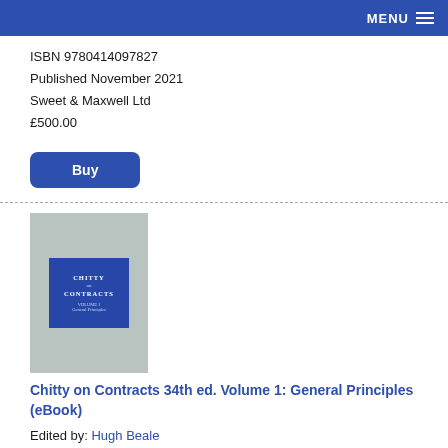MENU
ISBN 9780414097827
Published November 2021
Sweet & Maxwell Ltd
£500.00
[Figure (other): Buy button — blue rounded rectangle with white bold text 'Buy']
[Figure (illustration): Book cover of Chitty on Contracts 34th ed. Volume 1: General Principles — grey cover with blue panel showing title text]
Chitty on Contracts 34th ed. Volume 1: General Principles (eBook)
Edited by: Hugh Beale
ISBN 9780414097889
Published November 2021